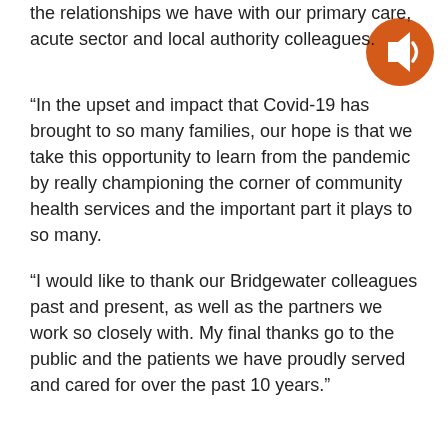the relationships we have with our primary care, acute sector and local authority colleagues.
[Figure (illustration): Orange circle icon with a white speaker/audio symbol indicating audio content]
“In the upset and impact that Covid-19 has brought to so many families, our hope is that we take this opportunity to learn from the pandemic by really championing the corner of community health services and the important part it plays to so many.
“I would like to thank our Bridgewater colleagues past and present, as well as the partners we work so closely with. My final thanks go to the public and the patients we have proudly served and cared for over the past 10 years.”